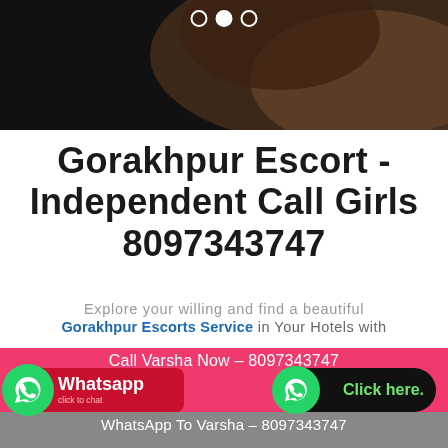[Figure (photo): Dark photo banner at top showing a blurred face/hair in shadow, with three navigation dots (circle indicators) at the top]
Gorakhpur Escort - Independent Call Girls 8097343747
Explore your willing and find a beautiful Gorakhpur Escorts Service in Your Hotels with
[Figure (infographic): Pink banner with 'Call Varsha Now - 8097343747', a red WhatsApp button with phone icon on left, and a black 'Click here.' button with green phone icon on right. Gray bar below with 'WhatsApp To Varsha - 8097343747']